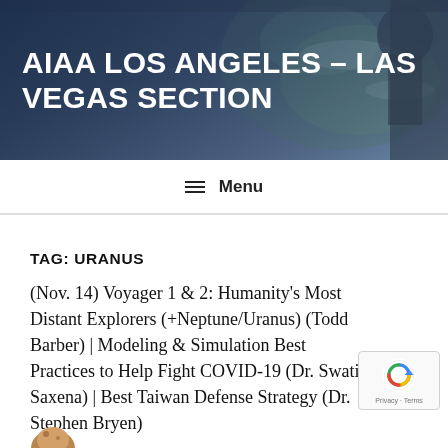AIAA LOS ANGELES – LAS VEGAS SECTION
≡  Menu
TAG: URANUS
(Nov. 14) Voyager 1 & 2: Humanity's Most Distant Explorers (+Neptune/Uranus) (Todd Barber) | Modeling & Simulation Best Practices to Help Fight COVID-19 (Dr. Swati Saxena) | Best Taiwan Defense Strategy (Dr. Stephen Bryen)